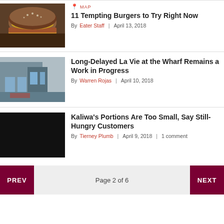MAP | 11 Tempting Burgers to Try Right Now | By Eater Staff | April 13, 2018
Long-Delayed La Vie at the Wharf Remains a Work in Progress | By Warren Rojas | April 10, 2018
Kaliwa's Portions Are Too Small, Say Still-Hungry Customers | By Tierney Plumb | April 9, 2018 | 1 comment
PREV | Page 2 of 6 | NEXT